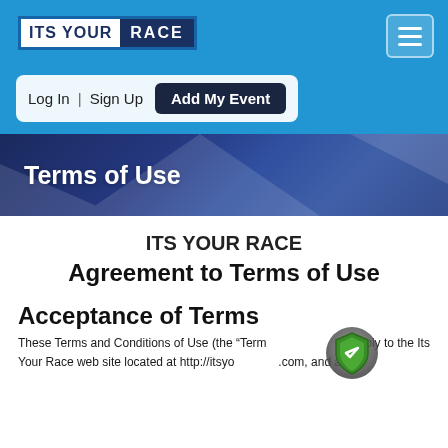[Figure (logo): ITS YOUR RACE logo with white text on blue background]
Log In  |  Sign Up  Add My Event
Terms of Use
ITS YOUR RACE Agreement to Terms of Use
Acceptance of Terms
These Terms and Conditions of Use (the "Terms") apply to the Its Your Race web site located at http://itsyo...com, and all